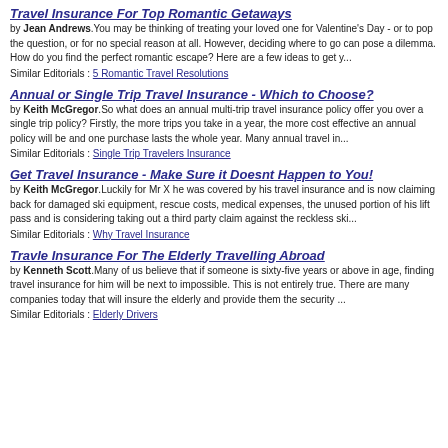Travel Insurance For Top Romantic Getaways
by Jean Andrews.You may be thinking of treating your loved one for Valentine's Day - or to pop the question, or for no special reason at all. However, deciding where to go can pose a dilemma. How do you find the perfect romantic escape? Here are a few ideas to get y...
Similar Editorials : 5 Romantic Travel Resolutions
Annual or Single Trip Travel Insurance - Which to Choose?
by Keith McGregor.So what does an annual multi-trip travel insurance policy offer you over a single trip policy? Firstly, the more trips you take in a year, the more cost effective an annual policy will be and one purchase lasts the whole year. Many annual travel in...
Similar Editorials : Single Trip Travelers Insurance
Get Travel Insurance - Make Sure it Doesnt Happen to You!
by Keith McGregor.Luckily for Mr X he was covered by his travel insurance and is now claiming back for damaged ski equipment, rescue costs, medical expenses, the unused portion of his lift pass and is considering taking out a third party claim against the reckless ski...
Similar Editorials : Why Travel Insurance
Travle Insurance For The Elderly Travelling Abroad
by Kenneth Scott.Many of us believe that if someone is sixty-five years or above in age, finding travel insurance for him will be next to impossible. This is not entirely true. There are many companies today that will insure the elderly and provide them the security ...
Similar Editorials : Elderly Drivers